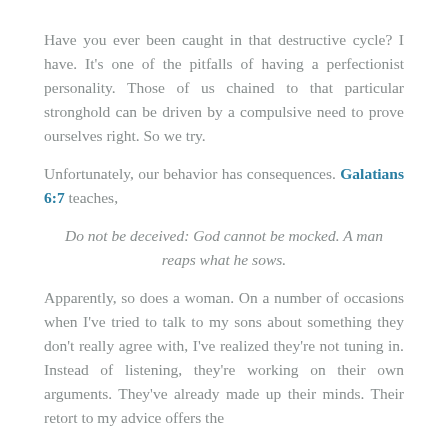Have you ever been caught in that destructive cycle? I have. It's one of the pitfalls of having a perfectionist personality. Those of us chained to that particular stronghold can be driven by a compulsive need to prove ourselves right. So we try.
Unfortunately, our behavior has consequences. Galatians 6:7 teaches,
Do not be deceived: God cannot be mocked. A man reaps what he sows.
Apparently, so does a woman. On a number of occasions when I've tried to talk to my sons about something they don't really agree with, I've realized they're not tuning in. Instead of listening, they're working on their own arguments. They've already made up their minds. Their retort to my advice offers the